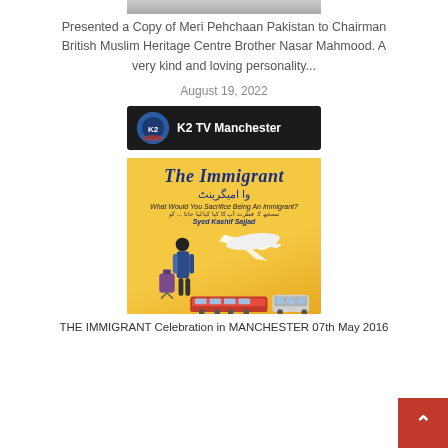[Figure (photo): Top portion of a photo (cropped), showing people at top of page]
Presented a Copy of Meri Pehchaan Pakistan to Chairman British Muslim Heritage Centre Brother Nasar Mahmood. A very kind and loving personality...
August 19, 2022
[Figure (logo): K2 TV Manchester channel bar with logo on dark background]
[Figure (photo): Book cover of 'The Immigrant' (Urdu: وا امیگرینٹ) by Syed Kashif Sajjad, with subtitle 'What Would You Sacrifice Being An Immigrant?' showing a person with luggage, airplane, train, and bus on yellow background]
THE IMMIGRANT Celebration in MANCHESTER 07th May 2016